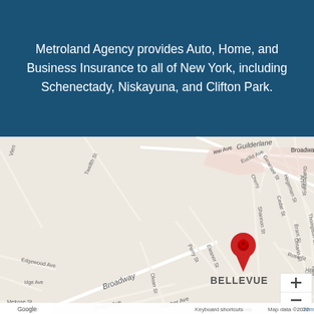Metroland Agency provides Auto, Home, and Business Insurance to all of New York, including Schenectady, Niskayuna, and Clifton Park.
[Figure (map): Google Maps street map showing the Bellevue neighborhood with a red location pin marker on Broadway/Shannon St area in Schenectady, NY. Streets visible include Broadway, Twelfth St, Genesee St, Hegeman St, Thompson St, Cherry St, Cedar St, Ontario St, Rose St, Euclid Ave, New Ave, Guilderlane, Vischer Ave, Draper Ave, Edgewood Ave, Melrose St, Eleanor St, Perry St, Olean St. Zoom controls (+/-) visible in bottom right. Google logo and copyright notice at bottom.]